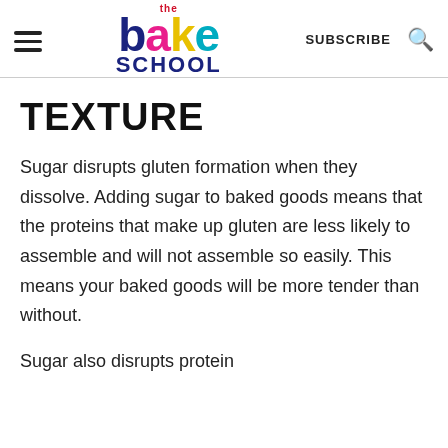the bake school — SUBSCRIBE
TEXTURE
Sugar disrupts gluten formation when they dissolve. Adding sugar to baked goods means that the proteins that make up gluten are less likely to assemble and will not assemble so easily. This means your baked goods will be more tender than without.
Sugar also disrupts protein